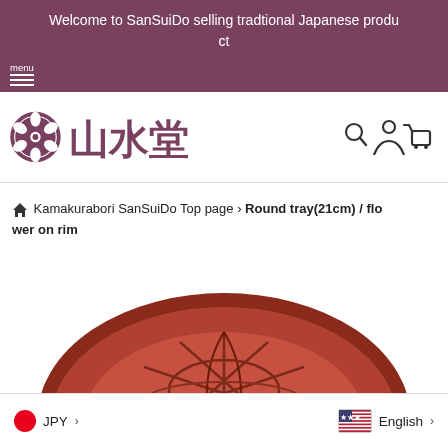Welcome to SanSuiDo selling tradtional Japanese product
[Figure (logo): SanSuiDo logo: stylized Japanese calligraphy characters with floral emblem, plus search, account, and cart icons]
Kamakurabori SanSuiDo Top page › Round tray(21cm) / flower on rim
[Figure (photo): Close-up photo of a round Kamakurabori lacquerware tray in reddish-brown, showing carved floral/geometric pattern on the rim]
JPY › | English ›